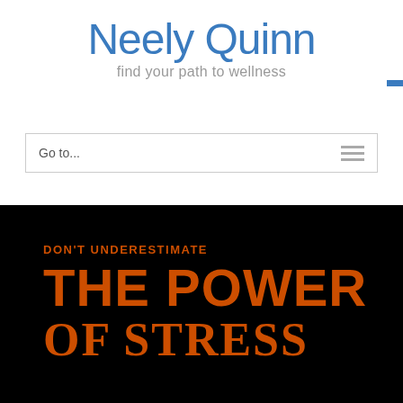Neely Quinn
find your path to wellness
Go to...
[Figure (infographic): Black background image with orange text reading 'DON'T UNDERESTIMATE THE POWER OF STRESS']